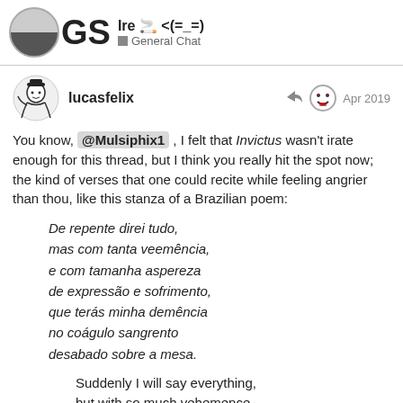Ire 🚬 <(=_=) — General Chat
lucasfelix — Apr 2019
You know, @Mulsiphix1 , I felt that Invictus wasn't irate enough for this thread, but I think you really hit the spot now; the kind of verses that one could recite while feeling angrier than thou, like this stanza of a Brazilian poem:
De repente direi tudo,
mas com tanta veemência,
e com tamanha aspereza
de expressão e sofrimento,
que terás minha demência
no coágulo sangrento
desabado sobre a mesa.
Suddenly I will say everything,
but with so much vehemence,